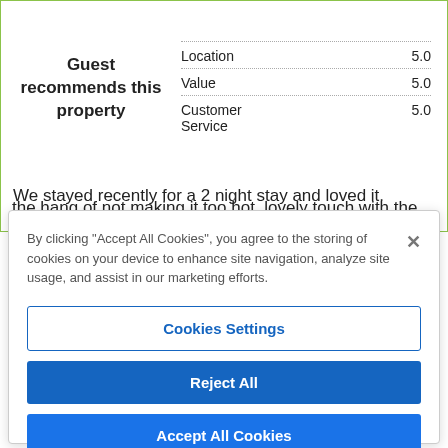| Category | Score |
| --- | --- |
| Location | 5.0 |
| Value | 5.0 |
| Customer Service | 5.0 |
Guest recommends this property
We stayed recently for a 2 night stay and loved it. Already planning our next stay. Perfect little getaway to just relax. The hot tub was a lovely relaxing experience once we got the hang of not making it too hot. lovely touch with the
By clicking "Accept All Cookies", you agree to the storing of cookies on your device to enhance site navigation, analyze site usage, and assist in our marketing efforts.
Cookies Settings
Reject All
Accept All Cookies